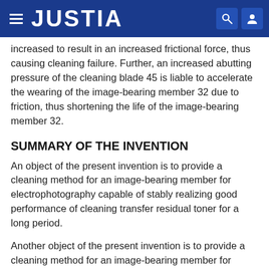JUSTIA
increased to result in an increased frictional force, thus causing cleaning failure. Further, an increased abutting pressure of the cleaning blade 45 is liable to accelerate the wearing of the image-bearing member 32 due to friction, thus shortening the life of the image-bearing member 32.
SUMMARY OF THE INVENTION
An object of the present invention is to provide a cleaning method for an image-bearing member for electrophotography capable of stably realizing good performance of cleaning transfer residual toner for a long period.
Another object of the present invention is to provide a cleaning method for an image-bearing member for electrophotography capable of stably exhibiting good